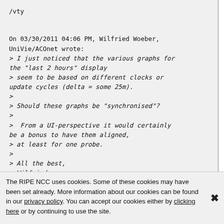/vty

On 03/30/2011 04:06 PM, Wilfried Woeber, UniVie/ACOnet wrote:
> I just noticed that the various graphs for the "last 2 hours" display
> seem to be based on different clocks or update cycles (delta = some 25m).
>
> Should these graphs be "synchronised"?
>
>  From a UI-perspective it would certainly be a bonus to have them aligned,
> at least for one probe.
>
> All the best,
> Wilfried
The RIPE NCC uses cookies. Some of these cookies may have been set already. More information about our cookies can be found in our privacy policy. You can accept our cookies either by clicking here or by continuing to use the site.